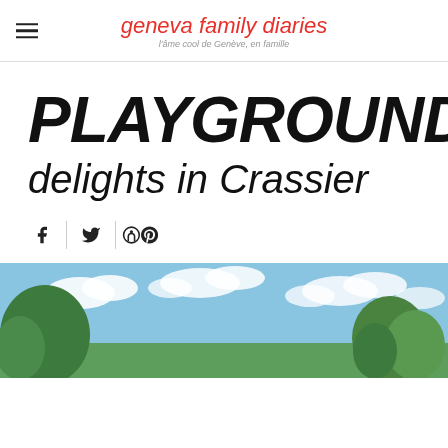geneva family diaries — l'âme cool de Genève, en famille
PLAYGROUND delights in Crassier
[Figure (other): Outdoor playground scene with trees and blue cloudy sky in Crassier]